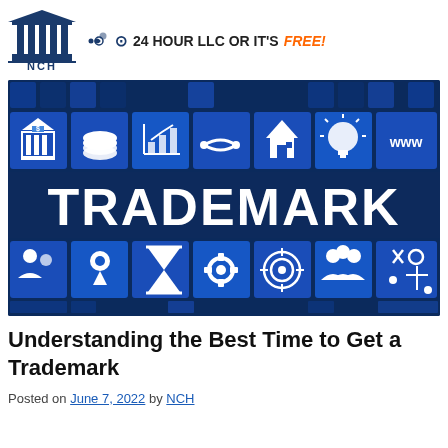[Figure (logo): NCH logo: classical building/columns with 'NCH' text below]
24 HOUR LLC OR IT'S FREE!
[Figure (illustration): Dark blue banner with business icons (bank, coins, chart, handshake, house, lightbulb, www, people, map, hourglass, gear, target, team, strategy) arranged in a grid around large white text 'TRADEMARK' in the center]
Understanding the Best Time to Get a Trademark
Posted on June 7, 2022 by NCH